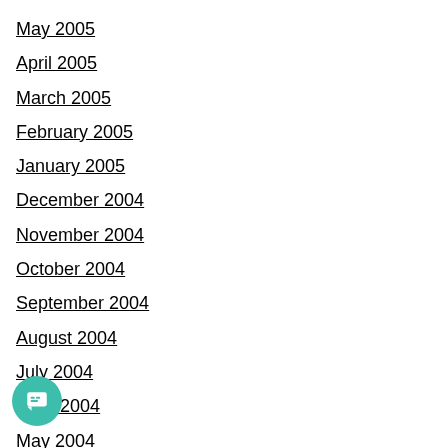May 2005
April 2005
March 2005
February 2005
January 2005
December 2004
November 2004
October 2004
September 2004
August 2004
July 2004
June 2004
May 2004